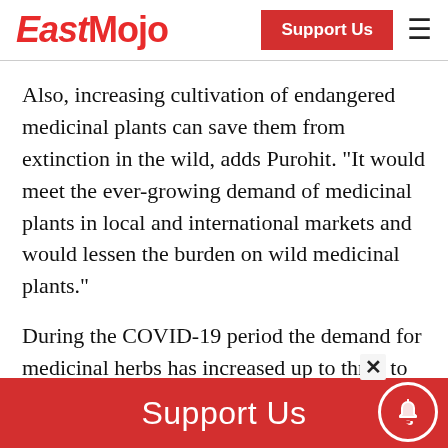EastMojo | Support Us
Also, increasing cultivation of endangered medicinal plants can save them from extinction in the wild, adds Purohit. “It would meet the ever-growing demand of medicinal plants in local and international markets and would lessen the burden on wild medicinal plants.”
During the COVID-19 period the demand for medicinal herbs has increased up to three to four times, which increased the pressure
Support Us